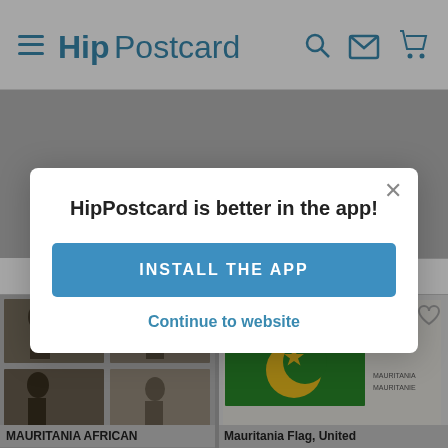HipPostcard
< FILTER
[Figure (screenshot): Product card: MAURITANIA AFRICAN - black and white photo collage of African figures]
MAURITANIA AFRICAN
[Figure (screenshot): Product card: Mauritania Flag, United Nations postcard with green flag and crescent moon]
Mauritania Flag, United
HipPostcard is better in the app!
INSTALL THE APP
Continue to website